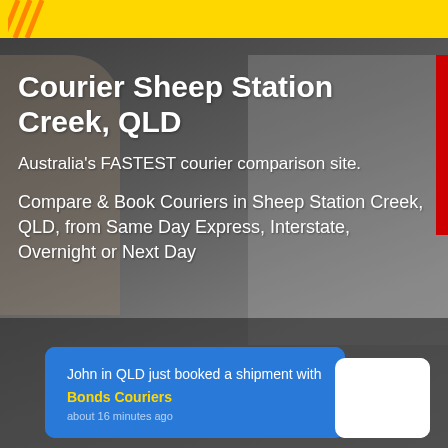Courier Sheep Station Creek, QLD
Australia's FASTEST courier comparison site.
Compare & Book Couriers in Sheep Station Creek, QLD, from Same Day Express, Interstate, Overnight or Next Day
John in QLD just booked a shipment with Bonds Couriers about 16 minutes ago